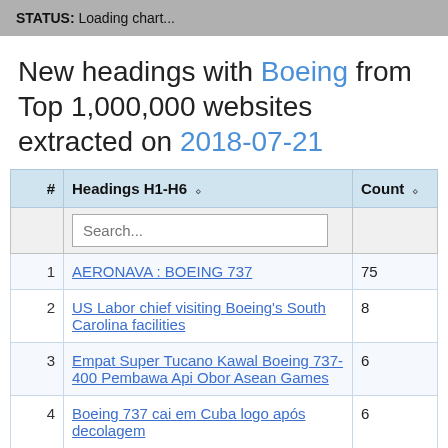STATUS: Loading chart...
New headings with Boeing from Top 1,000,000 websites extracted on 2018-07-21
| # | Headings H1-H6 | Count |
| --- | --- | --- |
| 1 | AERONAVA : BOEING 737 | 75 |
| 2 | US Labor chief visiting Boeing's South Carolina facilities | 8 |
| 3 | Empat Super Tucano Kawal Boeing 737-400 Pembawa Api Obor Asean Games | 6 |
| 4 | Boeing 737 cai em Cuba logo após decolagem | 6 |